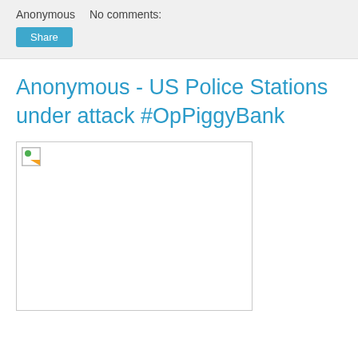Anonymous   No comments:
Share
Anonymous - US Police Stations under attack #OpPiggyBank
[Figure (photo): Broken/missing image placeholder within a bordered rectangle]